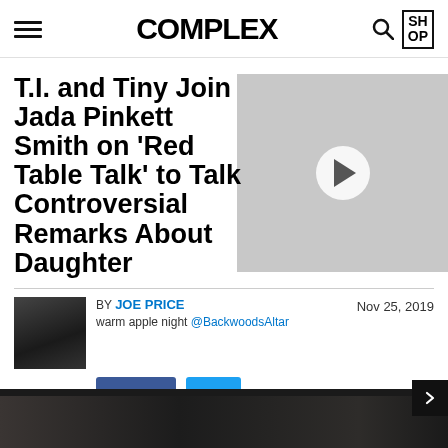COMPLEX
T.I. and Tiny Join Jada Pinkett Smith on 'Red Table Talk' to Talk Controversial Remarks About Daughter
[Figure (screenshot): Gray video player overlay with play button]
BY JOE PRICE
warm apple night @BackwoodsAltar
Nov 25, 2019
[Figure (illustration): Facebook share button (blue)]
[Figure (illustration): Twitter share button (light blue)]
[Figure (photo): Dark bottom image, partially visible]